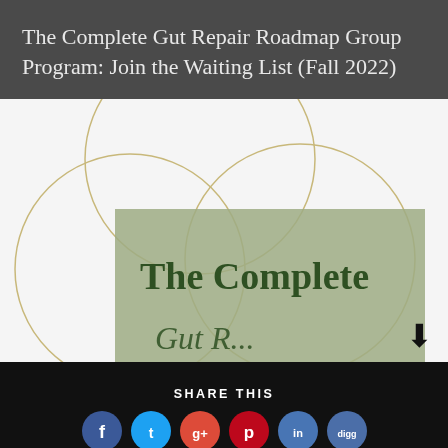The Complete Gut Repair Roadmap Group Program: Join the Waiting List (Fall 2022)
[Figure (photo): Book cover image showing 'The Complete Gut Repair Roadmap' program with overlapping circles design on a sage green background, partially visible. A downward arrow icon appears in the bottom right corner.]
SHARE THIS
[Figure (infographic): Social sharing icons row: Facebook (blue circle, f), Twitter (cyan circle, bird), Google Plus (red-orange circle, g+), Pinterest (red circle, p), LinkedIn (blue circle, in), Digg (steel blue circle, digg)]